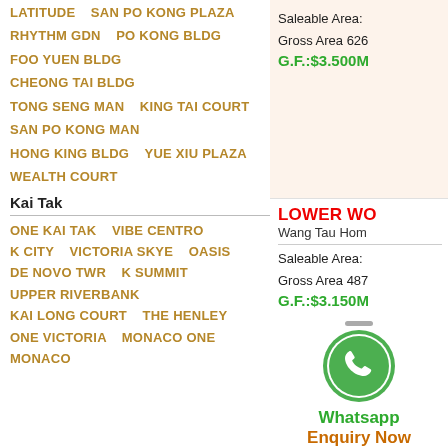LATITUDE  SAN PO KONG PLAZA
RHYTHM GDN  PO KONG BLDG
FOO YUEN BLDG
CHEONG TAI BLDG
TONG SENG MAN  KING TAI COURT
SAN PO KONG MAN
HONG KING BLDG  YUE XIU PLAZA
WEALTH COURT
Kai Tak
ONE KAI TAK  VIBE CENTRO
K CITY  VICTORIA SKYE  OASIS
DE NOVO TWR  K SUMMIT
UPPER RIVERBANK
KAI LONG COURT  THE HENLEY
ONE VICTORIA  MONACO ONE
MONACO
Saleable Area:
Gross Area 626
G.F.:$3.500M
LOWER WO
Wang Tau Hom
Saleable Area:
Gross Area 487
G.F.:$3.150M
[Figure (logo): WhatsApp green phone icon logo]
Whatsapp
Enquiry Now